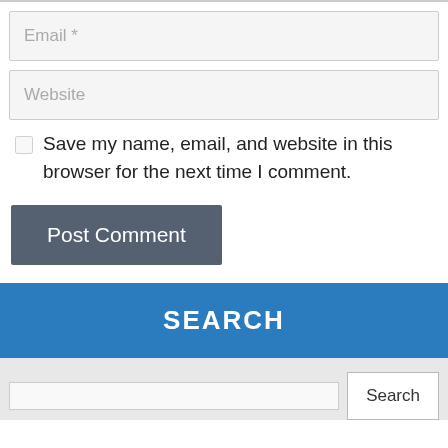Email *
Website
Save my name, email, and website in this browser for the next time I comment.
Post Comment
SEARCH
Search